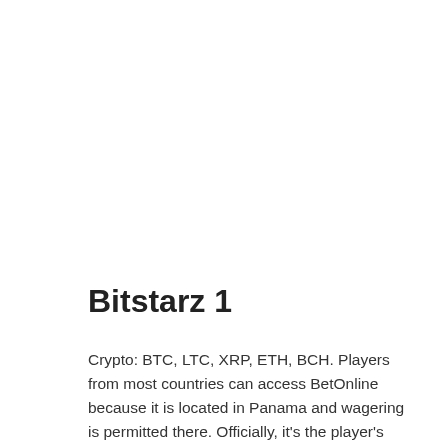Bitstarz 1
Crypto: BTC, LTC, XRP, ETH, BCH. Players from most countries can access BetOnline because it is located in Panama and wagering is permitted there. Officially, it's the player's responsibility to check with their local government rules and regulations. The platform can be changed from